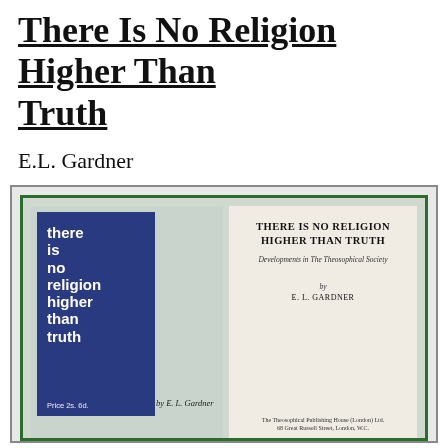There Is No Religion Higher Than Truth
E.L. Gardner
[Figure (photo): A composite image showing the front cover of a book titled 'there is no religion higher than truth by E. L. Gardner' (left, with navy blue panel and white bold text, price 2s. 6d.) and the title page of the same book (right, showing 'THERE IS NO RELIGION HIGHER THAN TRUTH', subtitle 'Developments in The Theosophical Society', author 'E. L. GARDNER', publisher 'The Theosophical Publishing House (London) Ltd., 68 Great Russell Street, London, W.C.').]